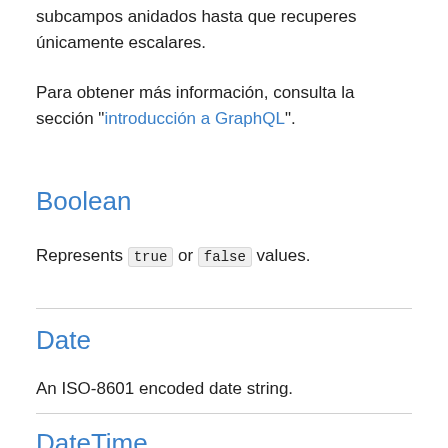subcampos anidados hasta que recuperes únicamente escalares.
Para obtener más información, consulta la sección "introducción a GraphQL".
Boolean
Represents true or false values.
Date
An ISO-8601 encoded date string.
DateTime